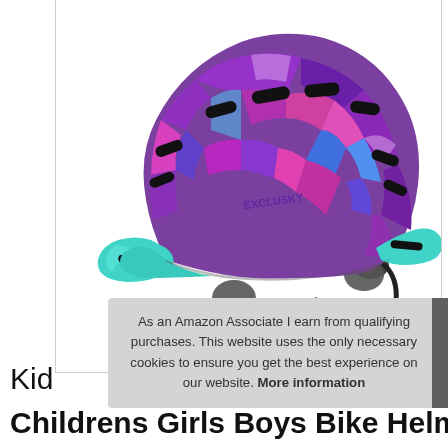[Figure (photo): A children's bike helmet with colorful purple, pink, and blue geometric print design, with a teal/turquoise visor and side wings. Black straps hang below. The helmet is shown in profile view (left-facing) against a white background.]
As an Amazon Associate I earn from qualifying purchases. This website uses the only necessary cookies to ensure you get the best experience on our website. More information
Kid
Childrens Girls Boys Bike Helmet Age